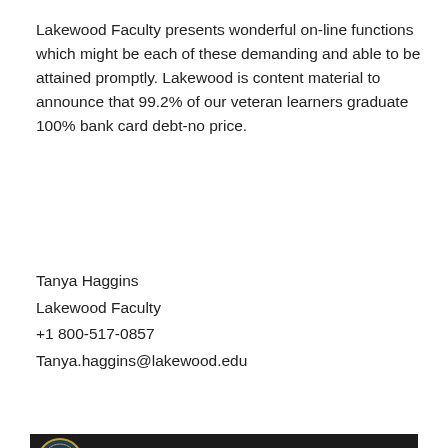Lakewood Faculty presents wonderful on-line functions which might be each of these demanding and able to be attained promptly. Lakewood is content material to announce that 99.2% of our veteran learners graduate 100% bank card debt-no price.
Tanya Haggins
Lakewood Faculty
+1 800-517-0857
Tanya.haggins@lakewood.edu
[Figure (screenshot): YouTube video thumbnail showing a woman speaking, with title 'Testimonials from students at Lake...' and a Lakewood University seal logo on the left. A YouTube play button is partially visible at the bottom.]